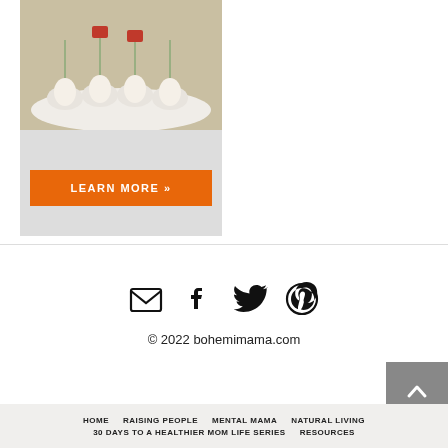[Figure (photo): Advertisement image showing an egg tray/holder product with a LEARN MORE button in orange]
[Figure (infographic): Social media icons: email/envelope, Facebook, Twitter, Pinterest]
© 2022 bohemimama.com
HOME | RAISING PEOPLE | MENTAL MAMA | NATURAL LIVING | 30 DAYS TO A HEALTHIER MOM LIFE SERIES | RESOURCES